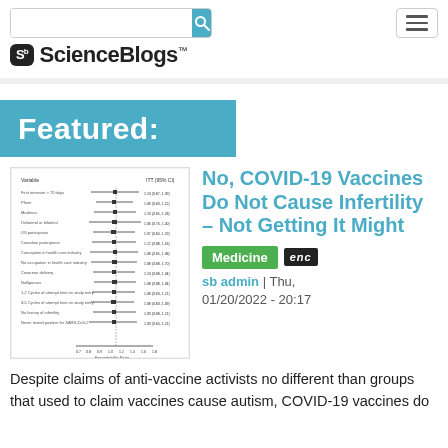[Figure (screenshot): Search bar with blue search button and hamburger menu button]
[Figure (logo): ScienceBlogs logo with 'Sb' icon and ScienceBlogs TM text]
Featured:
[Figure (other): Forest plot / meta-analysis figure from a scientific study on COVID-19 vaccine and infertility]
No, COVID-19 Vaccines Do Not Cause Infertility – Not Getting It Might
Medicine  enc  sb admin | Thu, 01/20/2022 - 20:17
Despite claims of anti-vaccine activists no different than groups that used to claim vaccines cause autism, COVID-19 vaccines do